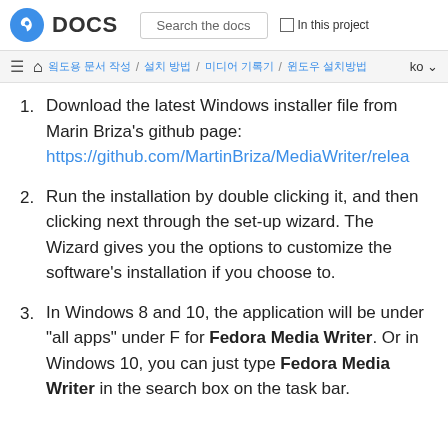Fedora DOCS | Search the docs | In this project
breadcrumb navigation | ko
Download the latest Windows installer file from Marin Briza's github page: https://github.com/MartinBriza/MediaWriter/relea
Run the installation by double clicking it, and then clicking next through the set-up wizard. The Wizard gives you the options to customize the software's installation if you choose to.
In Windows 8 and 10, the application will be under "all apps" under F for Fedora Media Writer. Or in Windows 10, you can just type Fedora Media Writer in the search box on the task bar.